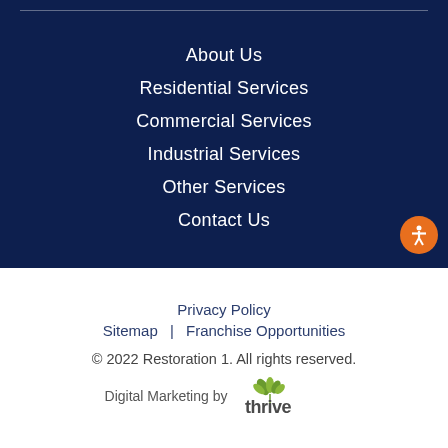About Us
Residential Services
Commercial Services
Industrial Services
Other Services
Contact Us
Privacy Policy
Sitemap | Franchise Opportunities
© 2022 Restoration 1. All rights reserved.
Digital Marketing by Thrive